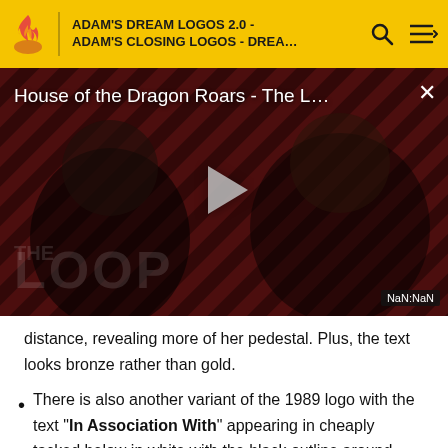ADAM'S DREAM LOGOS 2.0 - ADAM'S CLOSING LOGOS - DREA...
[Figure (screenshot): Video thumbnail for 'House of the Dragon Roars - The L...' showing two figures in dim lighting with diagonal red/dark stripes pattern, a play button in the center, THE LOOP text visible at bottom, and a NaN:NaN time badge at bottom right. A close (X) button is at top right.]
distance, revealing more of her pedestal. Plus, the text looks bronze rather than gold.
There is also another variant of the 1989 logo with the text "In Association With" appearing in cheaply tacked below in white with the black outline around